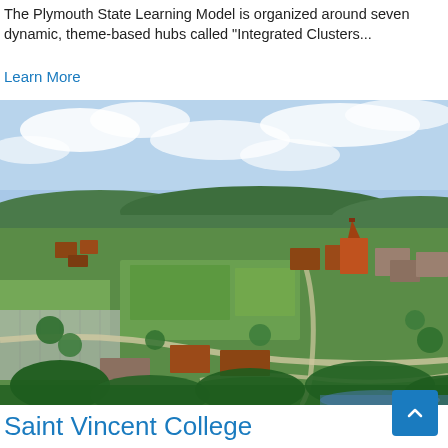The Plymouth State Learning Model is organized around seven dynamic, theme-based hubs called "Integrated Clusters...
Learn More
[Figure (photo): Aerial drone photograph of a college campus with red brick buildings surrounded by green trees and fields, with hills in the background. A prominent church or chapel building is visible near the center-right of the image.]
Saint Vincent College